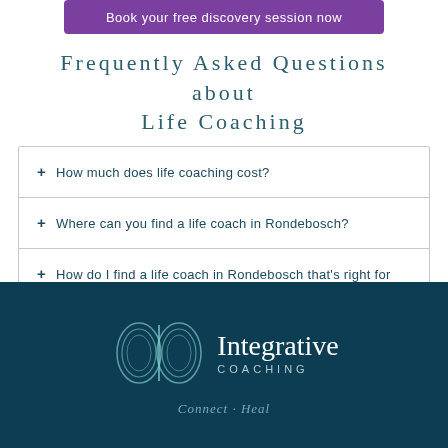Book your free discovery session now
Frequently Asked Questions about Life Coaching
+ How much does life coaching cost?
+ Where can you find a life coach in Rondebosch?
+ How do I find a life coach in Rondebosch that's right for me?
[Figure (logo): Integrative Coaching logo with circular interlocked rings and brand name]
Integrative COACHING